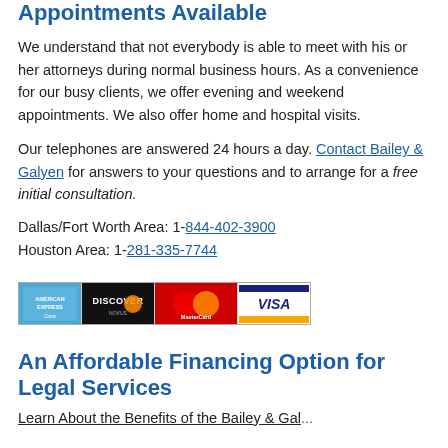Appointments Available
We understand that not everybody is able to meet with his or her attorneys during normal business hours. As a convenience for our busy clients, we offer evening and weekend appointments. We also offer home and hospital visits.
Our telephones are answered 24 hours a day. Contact Bailey & Galyen for answers to your questions and to arrange for a free initial consultation.
Dallas/Fort Worth Area: 1-844-402-3900
Houston Area: 1-281-335-7744
[Figure (other): Credit card logos: American Express, Discover, MasterCard, Visa]
An Affordable Financing Option for Legal Services
Learn About the Benefits of the Bailey & Gal...